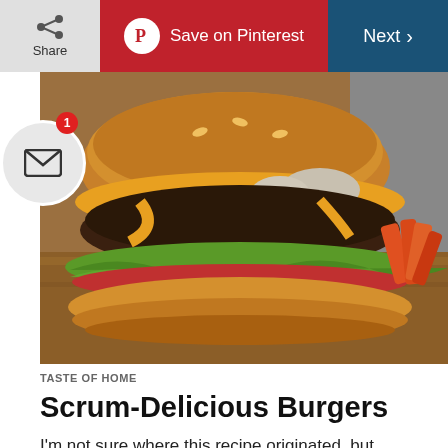Share  Save on Pinterest  Next >
[Figure (photo): Close-up photo of a large gourmet burger with melted cheese, sauteed mushrooms, lettuce, and tomato on a sesame bun, served on a wooden cutting board with sweet potato fries in the background]
TASTE OF HOME
Scrum-Delicious Burgers
I'm not sure where this recipe originated, but